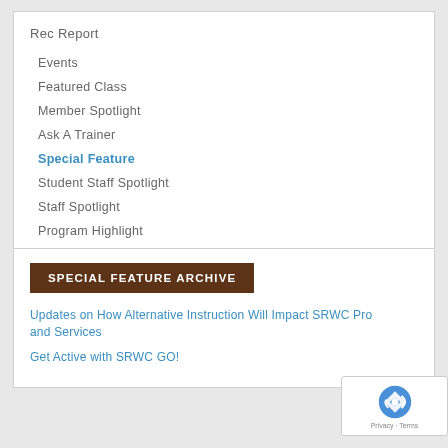Rec Report
Events
Featured Class
Member Spotlight
Ask A Trainer
Special Feature
Student Staff Spotlight
Staff Spotlight
Program Highlight
SPECIAL FEATURE ARCHIVE
Updates on How Alternative Instruction Will Impact SRWC Pro and Services
Get Active with SRWC GO!